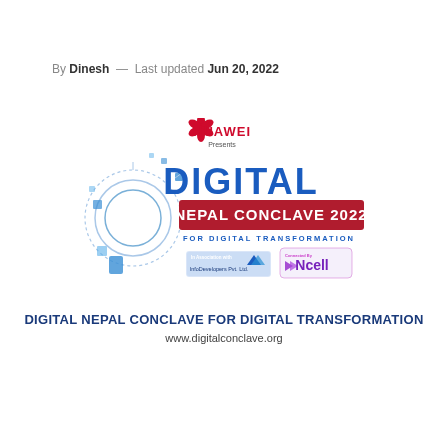By Dinesh — Last updated Jun 20, 2022
[Figure (logo): Digital Nepal Conclave 2022 logo featuring Huawei Presents branding, circular geometric design, red and blue typography for DIGITAL NEPAL CONCLAVE 2022 FOR DIGITAL TRANSFORMATION, with InfoDevelopers Pvt. Ltd. and Ncell logos]
DIGITAL NEPAL CONCLAVE FOR DIGITAL TRANSFORMATION
www.digitalconclave.org